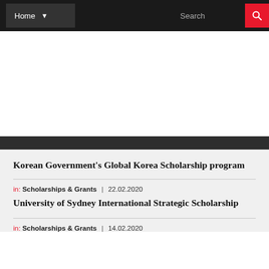Home | Search
Korean Government's Global Korea Scholarship program
in: Scholarships & Grants | 22.02.2020
University of Sydney International Strategic Scholarship
in: Scholarships & Grants | 14.02.2020